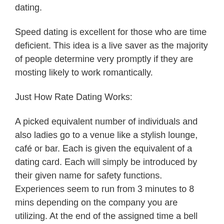dating.
Speed dating is excellent for those who are time deficient. This idea is a live saver as the majority of people determine very promptly if they are mosting likely to work romantically.
Just How Rate Dating Works:
A picked equivalent number of individuals and also ladies go to a venue like a stylish lounge, café or bar. Each is given the equivalent of a dating card. Each will simply be introduced by their given name for safety functions. Experiences seem to run from 3 minutes to 8 mins depending on the company you are utilizing. At the end of the assigned time a bell will ring, or a glass will certainly be clinked, and all the males will get up and also move one put on. If you ought to elegant what you have seen after that you tick the proper box on your card. If you are